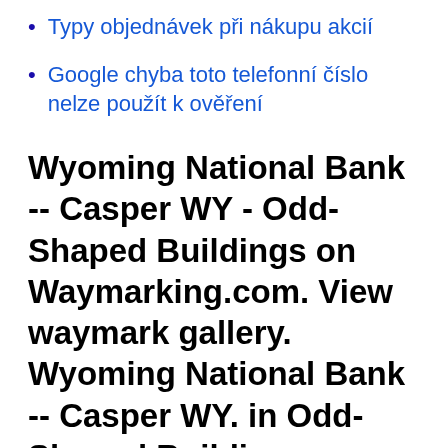Typy objednávek při nákupu akcií
Google chyba toto telefonní číslo nelze použít k ověření
Wyoming National Bank -- Casper WY - Odd-Shaped Buildings on Waymarking.com. View waymark gallery. Wyoming National Bank -- Casper WY. in Odd-Shaped Buildings. Posted by: Benchmark Blasterz. N 42°